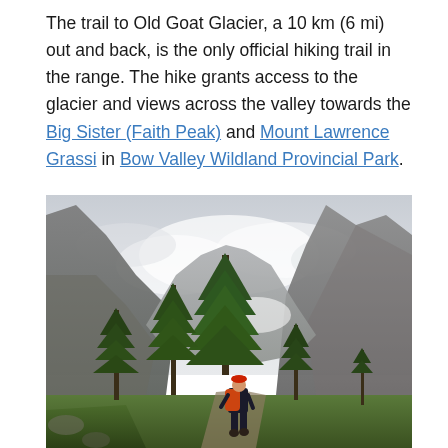The trail to Old Goat Glacier, a 10 km (6 mi) out and back, is the only official hiking trail in the range. The hike grants access to the glacier and views across the valley towards the Big Sister (Faith Peak) and Mount Lawrence Grassi in Bow Valley Wildland Provincial Park.
[Figure (photo): A hiker with an orange backpack and red hat walks along a trail surrounded by coniferous trees, with dramatic rocky mountain peaks and a cloudy sky in the background — a landscape typical of the Canadian Rockies.]